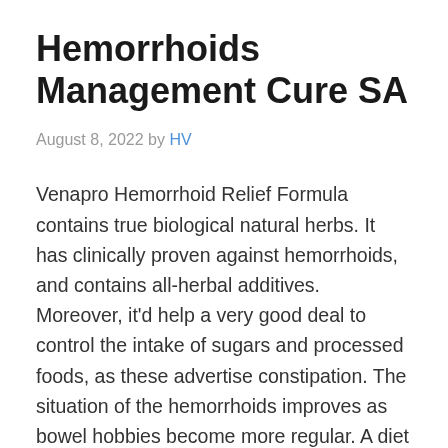Hemorrhoids Management Cure SA
August 8, 2022 by HV
Venapro Hemorrhoid Relief Formula contains true biological natural herbs. It has clinically proven against hemorrhoids, and contains all-herbal additives. Moreover, it’d help a very good deal to control the intake of sugars and processed foods, as these advertise constipation. The situation of the hemorrhoids improves as bowel hobbies become more regular. A diet with more ...
Read more